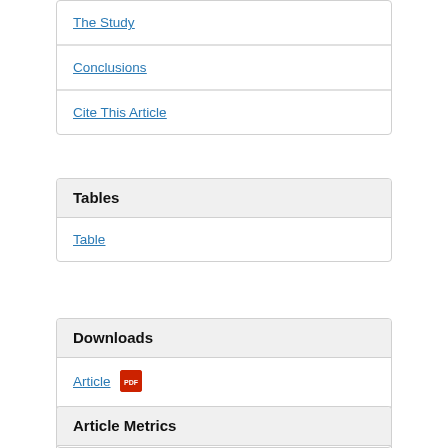The Study
Conclusions
Cite This Article
Tables
Table
Downloads
Article
RIS [TXT - 2 KB]
Article Metrics
[Figure (donut-chart): Partial donut/pie chart visible at bottom of page, showing article metrics. A blue, red and white arc is partially visible with a number 81 at center.]